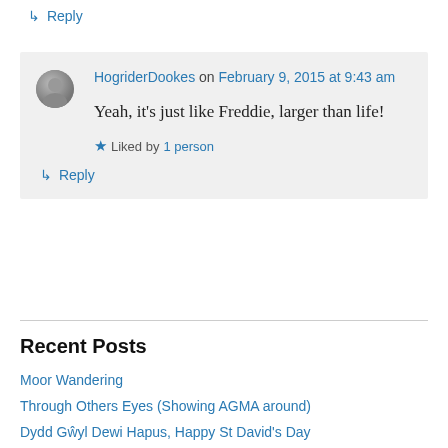↳ Reply
HogriderDookes on February 9, 2015 at 9:43 am
Yeah, it's just like Freddie, larger than life!
Liked by 1 person
↳ Reply
Recent Posts
Moor Wandering
Through Others Eyes (Showing AGMA around)
Dydd Gŵyl Dewi Hapus, Happy St David's Day